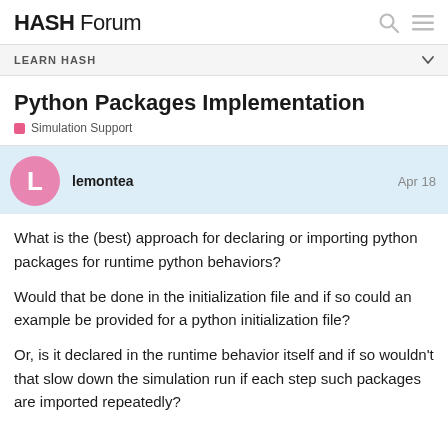HASH Forum
LEARN HASH
Python Packages Implementation
Simulation Support
lemontea  Apr 18
What is the (best) approach for declaring or importing python packages for runtime python behaviors?
Would that be done in the initialization file and if so could an example be provided for a python initialization file?
Or, is it declared in the runtime behavior itself and if so wouldn't that slow down the simulation run if each step such packages are imported repeatedly?